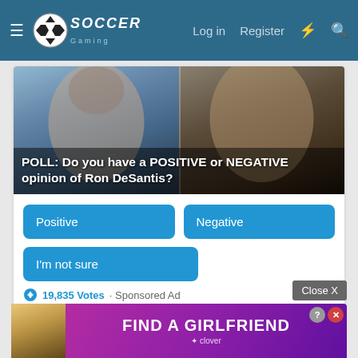Soccer Gaming — Log in | Register
[Figure (photo): Two men's faces side by side (Ron DeSantis and Donald Trump) with poll question overlay: POLL: Do you have a POSITIVE or NEGATIVE opinion of Ron DeSantis?]
POLL: Do you have a POSITIVE or NEGATIVE opinion of Ron DeSantis?
Positive
Negative
I'm not sure
19,835 Votes · Sponsored Ad
Close X
[Figure (screenshot): Advertisement banner: FIND A GIRLFRIEND — clover app, with photo of woman on left side]